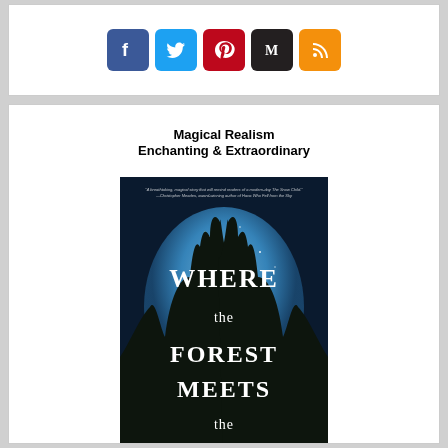[Figure (other): Social media icon buttons: Facebook (blue), Twitter (light blue), Pinterest (red), Medium (black), RSS (orange)]
Magical Realism
Enchanting & Extraordinary
[Figure (photo): Book cover of 'Where the Forest Meets the Stars' with a night sky forest scene. Overlay of social share buttons (Facebook, Twitter, Email, More) at the bottom.]